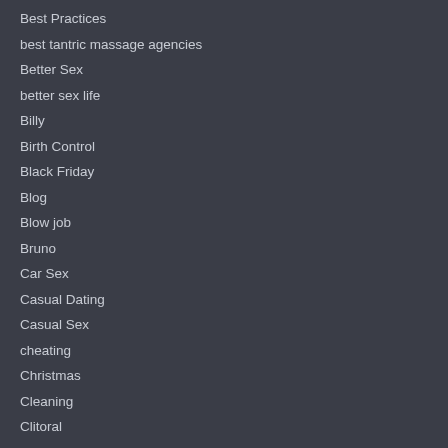Best Practices
best tantric massage agencies
Better Sex
better sex life
Billy
Birth Control
Black Friday
Blog
Blow job
Bruno
Car Sex
Casual Dating
Casual Sex
cheating
Christmas
Cleaning
Clitoral
Committed Relationship